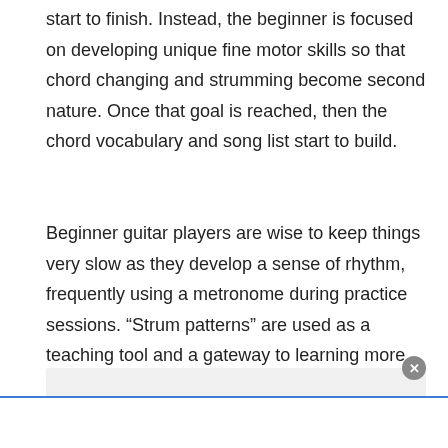start to finish. Instead, the beginner is focused on developing unique fine motor skills so that chord changing and strumming become second nature. Once that goal is reached, then the chord vocabulary and song list start to build.
Beginner guitar players are wise to keep things very slow as they develop a sense of rhythm, frequently using a metronome during practice sessions. “Strum patterns” are used as a teaching tool and a gateway to learning more advanced rhythm concepts.
[Figure (other): Advertisement or embedded content box with a close button (x), gray background area at the bottom of the page, with a blue-bordered white panel below it.]